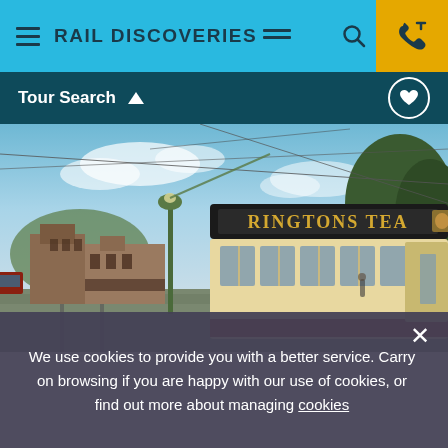RAIL DISCOVERIES
Tour Search
[Figure (photo): A vintage tram with 'Ringtons Tea' advertisement sign on its roof, photographed on a heritage tramway street scene with overhead wires, a green ornate lamp post, red brick Victorian buildings in background, trees, and a blue cloudy sky.]
We use cookies to provide you with a better service. Carry on browsing if you are happy with our use of cookies, or find out more about managing cookies